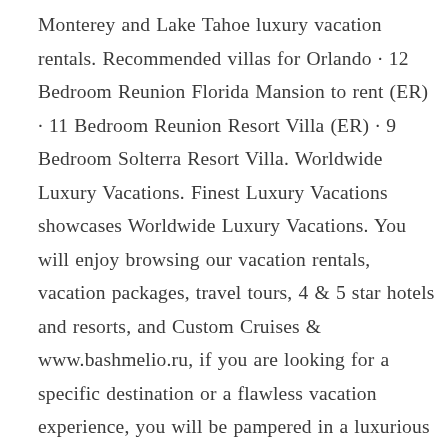Monterey and Lake Tahoe luxury vacation rentals. Recommended villas for Orlando · 12 Bedroom Reunion Florida Mansion to rent (ER) · 11 Bedroom Reunion Resort Villa (ER) · 9 Bedroom Solterra Resort Villa. Worldwide Luxury Vacations. Finest Luxury Vacations showcases Worldwide Luxury Vacations. You will enjoy browsing our vacation rentals, vacation packages, travel tours, 4 & 5 star hotels and resorts, and Custom Cruises & www.bashmelio.ru, if you are looking for a specific destination or a flawless vacation experience, you will be pampered in a luxurious setting, with only the finest. Gulf Coast Vacation Rentals is the leader in beachfront investments, homes and condos along Americas 1 ranked beach. We specialize in spectacular homes on the white sand beaches of Mexico Beach, Cape San Blas, Indian Pass and St. Joe Beach. Escape and de-stress at this luxurious, newly renovated beachfront retreat. Enjoy stunning views